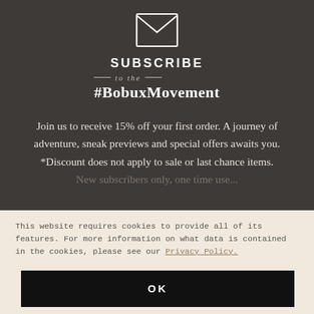[Figure (illustration): Envelope icon — a simple line-drawn envelope outline in white on dark background]
SUBSCRIBE
— to the —
#BobuxMovement
Join us to receive 15% off your first order. A journey of adventure, sneak previews and special offers awaits you. *Discount does not apply to sale or last chance items. New subscribers only, one time use.
This website requires cookies to provide all of its features. For more information on what data is contained in the cookies, please see our Privacy Policy.
OK